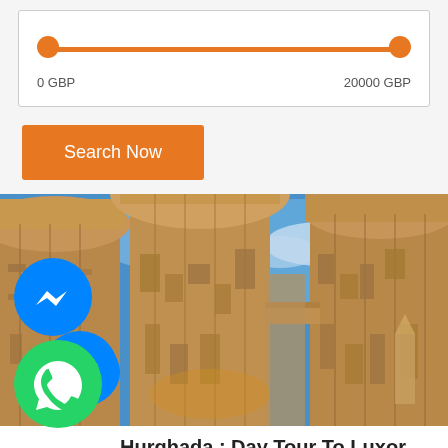[Figure (infographic): Price range slider widget with orange track and two orange circular handles at 0 GBP and 20000 GBP]
0 GBP
20000 GBP
Search Now
[Figure (photo): Looking up at ancient Egyptian temple columns at Karnak, Luxor — tall stone columns with carved hieroglyphics against a blue sky with clouds]
Hurghada : Day Tour To Luxor Super